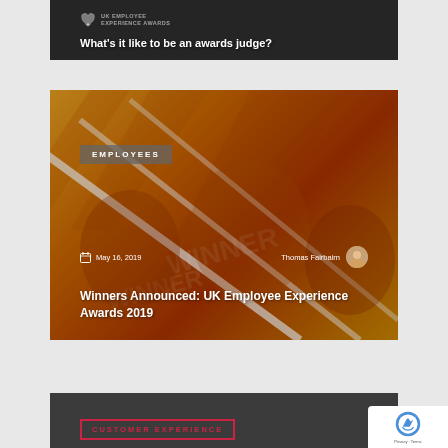[Figure (photo): Dark banner image with text overlay reading 'What's it like to be an awards judge?' and UK Employee Experience Awards logo]
[Figure (photo): Large orange/yellow awards trophies image with category tag 'EMPLOYEES', date 'May 16, 2019', author 'Thomas Fairbairn', and title 'Winners Announced: UK Employee Experience Awards 2019']
[Figure (photo): Partially visible dark image at bottom with 'CUSTOMER EXPERIENCE' category label in red border]
[Figure (logo): Google reCAPTCHA badge in bottom right corner]